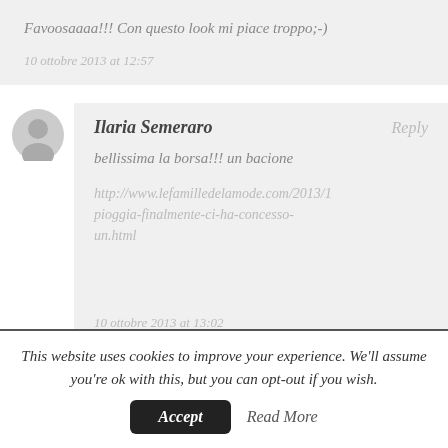Favoosaaaa!!! Con questo look mi piace troppo;-)
10 ottobre 2013 at 12:57
Ilaria Semeraro
Reply
bellissima la borsa!!! un bacione
http://www.lefamilledelamode.com/2013/1 pioggia-finalmente-ci-ha-concesso-un.html
10 ottobre 2013 at 13:02
This website uses cookies to improve your experience. We'll assume you're ok with this, but you can opt-out if you wish.
Accept
Read More